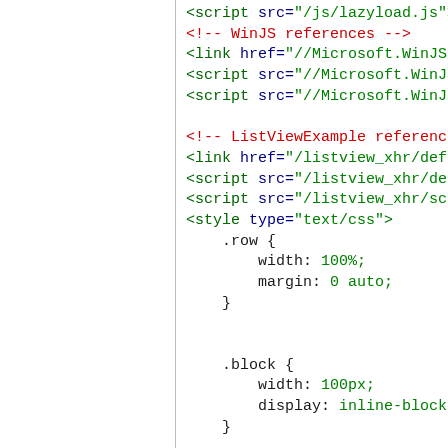<script src="/js/lazyload.js"></sc
<!-- WinJS references -->
<link href="//Microsoft.WinJS.1.
<script src="//Microsoft.WinJS.1
<script src="//Microsoft.WinJS.1
<!-- ListViewExample reference
<link href="/listview_xhr/default.
<script src="/listview_xhr/defaul
<script src="/listview_xhr/scriptc
<style type="text/css">
.row {
width: 100%;
margin: 0 auto;
}
.block {
width: 100px;
display: inline-block;
}
</style>